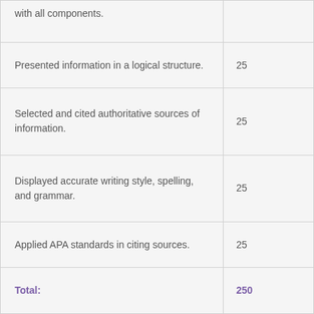| Criteria | Points |
| --- | --- |
| with all components. |  |
| Presented information in a logical structure. | 25 |
| Selected and cited authoritative sources of information. | 25 |
| Displayed accurate writing style, spelling, and grammar. | 25 |
| Applied APA standards in citing sources. | 25 |
| Total: | 250 |